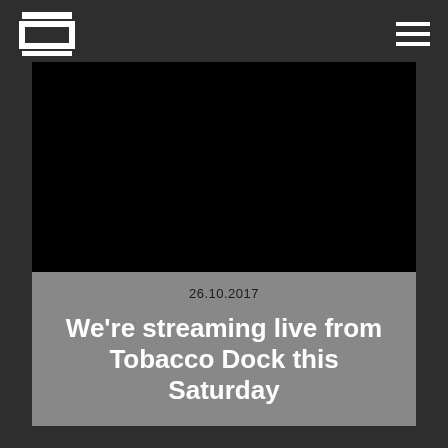Logo and navigation header
[Figure (screenshot): Black video placeholder area representing a video player or thumbnail]
26.10.2017
We're streaming live from Tobacco Dock this Saturday
Events